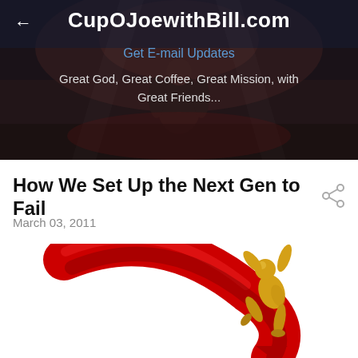[Figure (photo): Website header banner showing a dark photo of a speaker on stage with a crowd in the background. The figure is seen from behind addressing a large audience.]
CupOJoewithBill.com
Get E-mail Updates
Great God, Great Coffee, Great Mission, with Great Friends...
How We Set Up the Next Gen to Fail
March 03, 2011
[Figure (illustration): 3D illustration of a gold cartoon figure sliding off or falling from a large red curved arrow/shape, with arms raised and knees bent.]